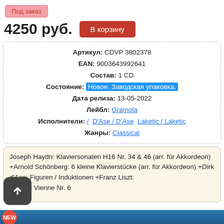Под заказ
4250 руб.  В корзину
| Артикул: | CDVP 3802378 |
| EAN: | 9003643992641 |
| Состав: | 1 CD |
| Состояние: | Новое. Заводская упаковка. |
| Дата релиза: | 13-05-2022 |
| Лейбл: | Gramola |
| Исполнители: | /  D'Ase / D'Ase  Laketic / Laketic |
| Жанры: | Classical |
Joseph Haydn: Klaviersonaten H16 Nr. 34 & 46 (arr. für Akkordeon) +Arnold Schönberg: 6 kleine Klavierstücke (arr. für Akkordeon) +Dirk d'Ase: Figuren / Induktionen +Franz Liszt: Soirée de Vienne Nr. 6